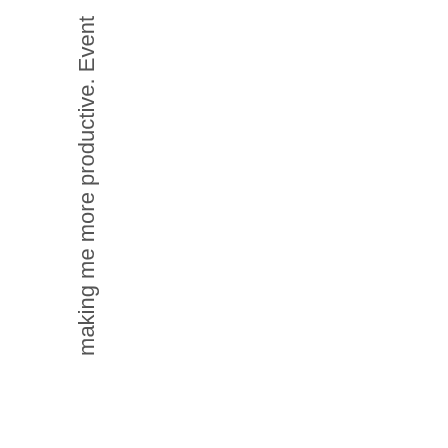making me more productive. Event